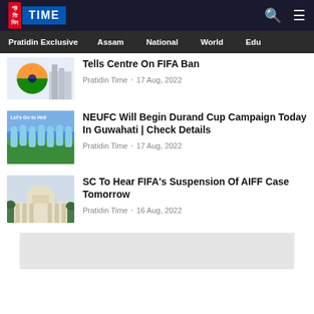Pratidin TIME — navigation with Pratidin Exclusive, Assam, National, World, Edu
Tells Centre On FIFA Ban · Pratidin Time · 17 Aug, 2022
NEUFC Will Begin Durand Cup Campaign Today In Guwahati | Check Details
Pratidin Time · 17 Aug, 2022
SC To Hear FIFA's Suspension Of AIFF Case Tomorrow
Pratidin Time · 16 Aug, 2022